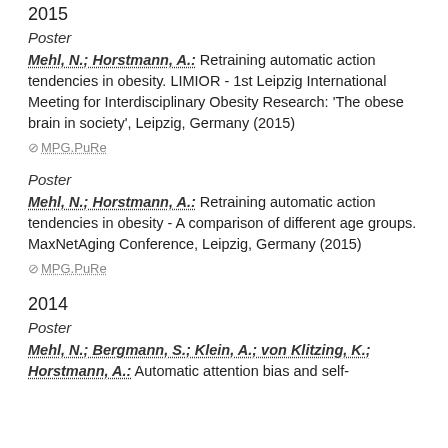2015
Poster
Mehl, N.; Horstmann, A.: Retraining automatic action tendencies in obesity. LIMIOR - 1st Leipzig International Meeting for Interdisciplinary Obesity Research: 'The obese brain in society', Leipzig, Germany (2015)
MPG.PuRe
Poster
Mehl, N.; Horstmann, A.: Retraining automatic action tendencies in obesity - A comparison of different age groups. MaxNetAging Conference, Leipzig, Germany (2015)
MPG.PuRe
2014
Poster
Mehl, N.; Bergmann, S.; Klein, A.; von Klitzing, K.; Horstmann, A.: Automatic attention bias and self-